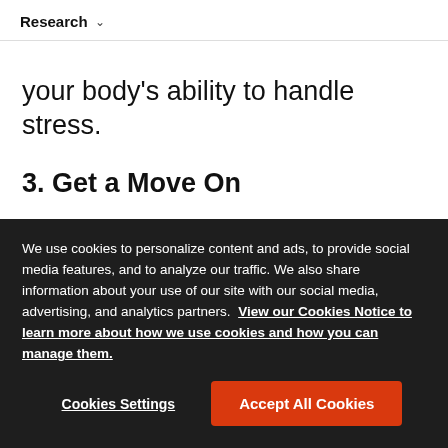Research ▾
your body's ability to handle stress.
3. Get a Move On
Move your body! Whether or not you have space for a height-adjustable desk, research from the
We use cookies to personalize content and ads, to provide social media features, and to analyze our traffic. We also share information about your use of our site with our social media, advertising, and analytics partners. View our Cookies Notice to learn more about how we use cookies and how you can manage them.
Cookies Settings
Accept All Cookies